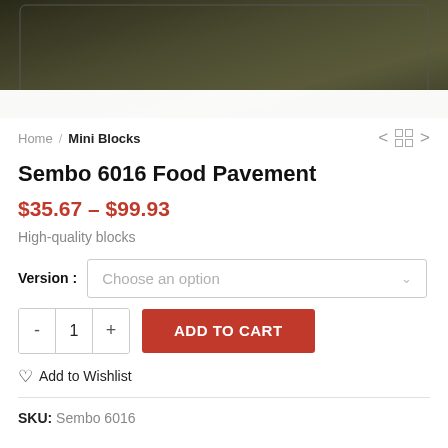[Figure (photo): Product image showing a dark/blurred background, top portion of a product page image]
Home / Mini Blocks
Sembo 6016 Food Pavement
$35.67 – $99.93
High-quality blocks
Version : Choose an option
- 1 + ADD TO CART
Add to Wishlist
SKU: Sembo 6016